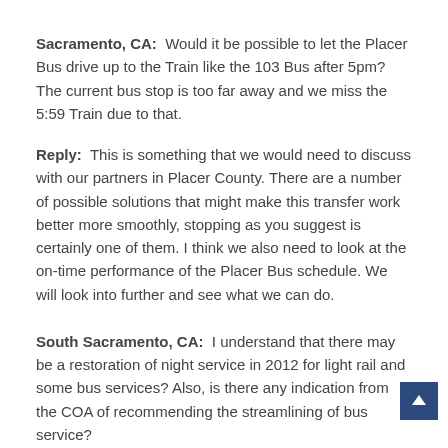Sacramento, CA: Would it be possible to let the Placer Bus drive up to the Train like the 103 Bus after 5pm? The current bus stop is too far away and we miss the 5:59 Train due to that.
Reply: This is something that we would need to discuss with our partners in Placer County. There are a number of possible solutions that might make this transfer work better more smoothly, stopping as you suggest is certainly one of them. I think we also need to look at the on-time performance of the Placer Bus schedule. We will look into further and see what we can do.
South Sacramento, CA: I understand that there may be a restoration of night service in 2012 for light rail and some bus services? Also, is there any indication from the COA of recommending the streamlining of bus service?